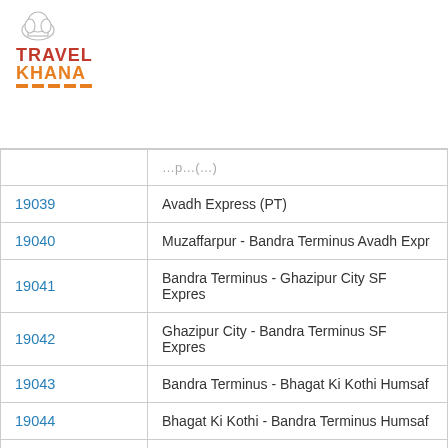[Figure (logo): TravelKhana logo with chef hat icon and red/orange text]
| Train Number | Train Name |
| --- | --- |
| 19039 | Avadh Express (PT) |
| 19040 | Muzaffarpur - Bandra Terminus Avadh Expr |
| 19041 | Bandra Terminus - Ghazipur City SF Expres |
| 19042 | Ghazipur City - Bandra Terminus SF Expres |
| 19043 | Bandra Terminus - Bhagat Ki Kothi Humsaf |
| 19044 | Bhagat Ki Kothi - Bandra Terminus Humsaf |
| 19053 | Surat - Muzaffarpur Express (PT) |
| 19054 | Muzaffarpur - Surat Express (PT) |
| 19055 | Valsad - Jodhpur Weekly Express |
| 19051 | ... |